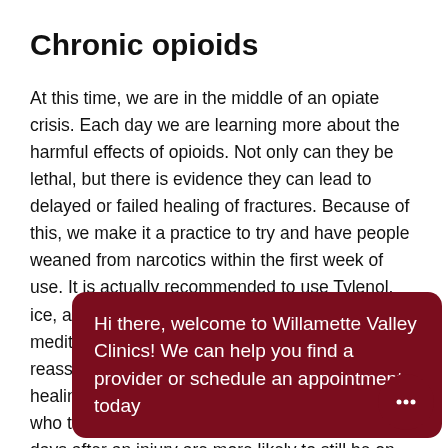Chronic opioids
At this time, we are in the middle of an opiate crisis. Each day we are learning more about the harmful effects of opioids. Not only can they be lethal, but there is evidence they can lead to delayed or failed healing of fractures. Because of this, we make it a practice to try and have people weaned from narcotics within the first week of use. It is actually recommended to use Tylenol, ice, and other forms of pain control, such as meditation, breathing techniques, and self-reassurance, to help during the initial phase of a healing fracture. It has been found that patients who take narcotic pain medication for more than 7 days after an injury are more likely to still be on that me[dication...] I ho[pe...]
Hi there, welcome to Willamette Valley Clinics! We can help you find a provider or schedule an appointment today